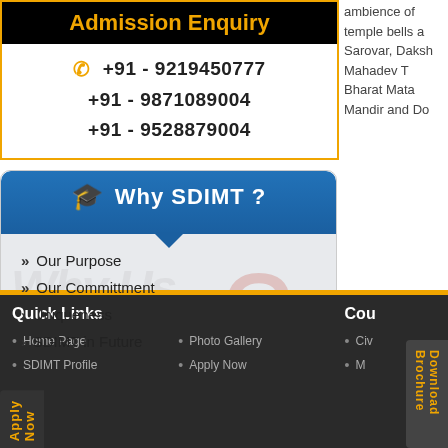Admission Enquiry
+91 - 9219450777
+91 - 9871089004
+91 - 9528879004
Why SDIMT ?
Our Purpose
Our Committment
Uniqueness
SDIMT in Future
ambience of temple bells a... Sarovar, Daksh Mahadev T... Bharat Mata Mandir and Do...
Apply Now
Download Brochure
Quick Links
Cou
Home Page
Photo Gallery
Civ
SDIMT Profile
Apply Now
M